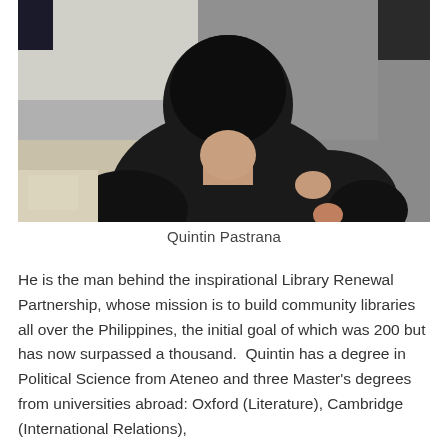[Figure (photo): A person photographed from behind wearing a black shirt, seated, with dark hair visible. The background appears to be a light grey or white wall.]
Quintin Pastrana
He is the man behind the inspirational Library Renewal Partnership, whose mission is to build community libraries all over the Philippines, the initial goal of which was 200 but has now surpassed a thousand. Quintin has a degree in Political Science from Ateneo and three Master's degrees from universities abroad: Oxford (Literature), Cambridge (International Relations),